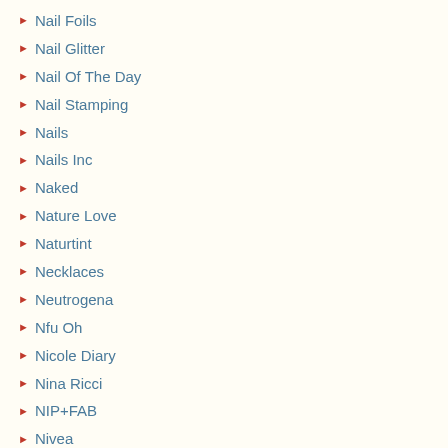Nail Foils
Nail Glitter
Nail Of The Day
Nail Stamping
Nails
Nails Inc
Naked
Nature Love
Naturtint
Necklaces
Neutrogena
Nfu Oh
Nicole Diary
Nina Ricci
NIP+FAB
Nivea
Nourish
NSPA
Nutrafix
Nuxe